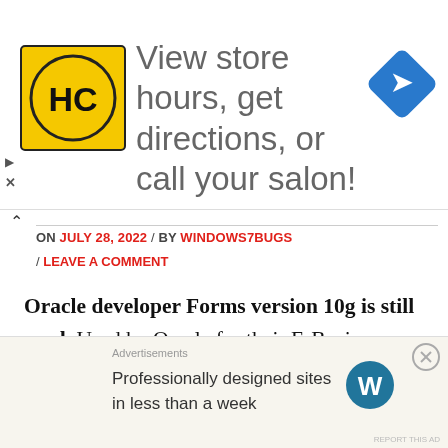[Figure (infographic): Advertisement banner: HC logo (yellow square with HC text), text 'View store hours, get directions, or call your salon!' and a blue navigation diamond icon]
ON JULY 28, 2022 / BY WINDOWS7BUGS
/ LEAVE A COMMENT
Oracle developer Forms version 10g is still used. Used by Oracle for their E-Business Suite & they will continue using this obsolete, unstable version until the day EBS is discontinued. So, let us see how to make the best out of what is available.
[Figure (infographic): Bottom advertisement: 'Advertisements' label, text 'Professionally designed sites in less than a week' with WordPress logo]